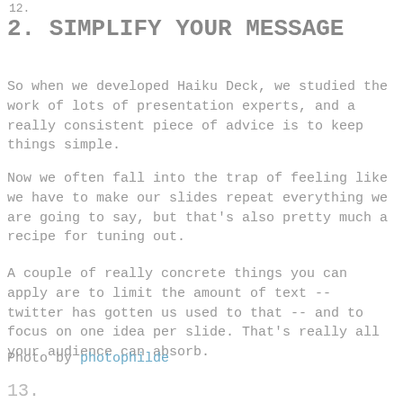12.
2. SIMPLIFY YOUR MESSAGE
So when we developed Haiku Deck, we studied the work of lots of presentation experts, and a really consistent piece of advice is to keep things simple.
Now we often fall into the trap of feeling like we have to make our slides repeat everything we are going to say, but that's also pretty much a recipe for tuning out.
A couple of really concrete things you can apply are to limit the amount of text -- twitter has gotten us used to that -- and to focus on one idea per slide. That's really all your audience can absorb.
Photo by photophilde
13.